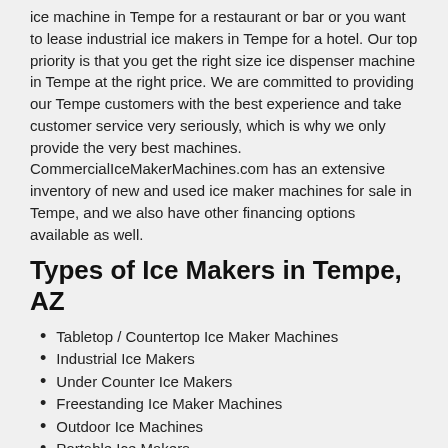ice machine in Tempe for a restaurant or bar or you want to lease industrial ice makers in Tempe for a hotel. Our top priority is that you get the right size ice dispenser machine in Tempe at the right price. We are committed to providing our Tempe customers with the best experience and take customer service very seriously, which is why we only provide the very best machines. CommercialIceMakerMachines.com has an extensive inventory of new and used ice maker machines for sale in Tempe, and we also have other financing options available as well.
Types of Ice Makers in Tempe, AZ
Tabletop / Countertop Ice Maker Machines
Industrial Ice Makers
Under Counter Ice Makers
Freestanding Ice Maker Machines
Outdoor Ice Machines
Portable Ice Makers
What is best ice machine and...